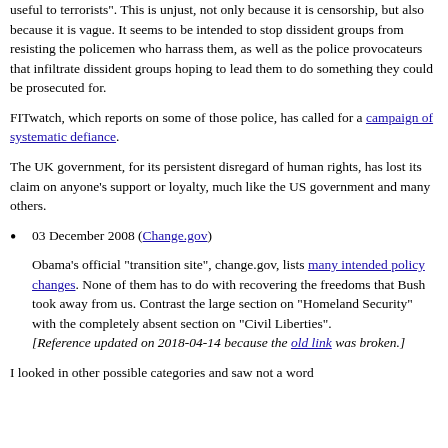useful to terrorists". This is unjust, not only because it is censorship, but also because it is vague. It seems to be intended to stop dissident groups from resisting the policemen who harrass them, as well as the police provocateurs that infiltrate dissident groups hoping to lead them to do something they could be prosecuted for.
FITwatch, which reports on some of those police, has called for a campaign of systematic defiance.
The UK government, for its persistent disregard of human rights, has lost its claim on anyone's support or loyalty, much like the US government and many others.
03 December 2008 (Change.gov)
Obama's official "transition site", change.gov, lists many intended policy changes. None of them has to do with recovering the freedoms that Bush took away from us. Contrast the large section on "Homeland Security" with the completely absent section on "Civil Liberties". [Reference updated on 2018-04-14 because the old link was broken.]
I looked in other possible categories and saw not a word